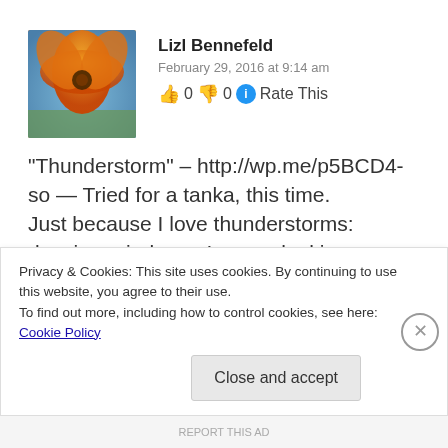[Figure (photo): Avatar photo of an orange poppy flower with blue sky background]
Lizl Bennefeld
February 29, 2016 at 9:14 am
👍 0 👎 0 ℹ Rate This
“Thunderstorm” – http://wp.me/p5BCD4-so — Tried for a tanka, this time. Just because I love thunderstorms: dancing raindrops. I am so looking forward to summer’s rain, as opposed to the February stuff that freezes on
Privacy & Cookies: This site uses cookies. By continuing to use this website, you agree to their use.
To find out more, including how to control cookies, see here: Cookie Policy
Close and accept